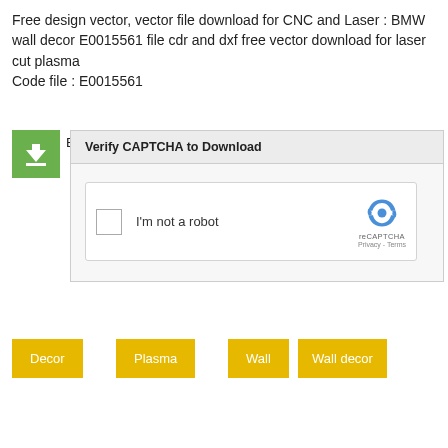Free design vector, vector file download for CNC and Laser : BMW wall decor E0015561 file cdr and dxf free vector download for laser cut plasma
Code file : E0015561
E0015561 1219 downloads 46.53 KB
[Figure (screenshot): Verify CAPTCHA to Download widget with reCAPTCHA checkbox and 'I'm not a robot' label]
Decor
Plasma
Wall
Wall decor